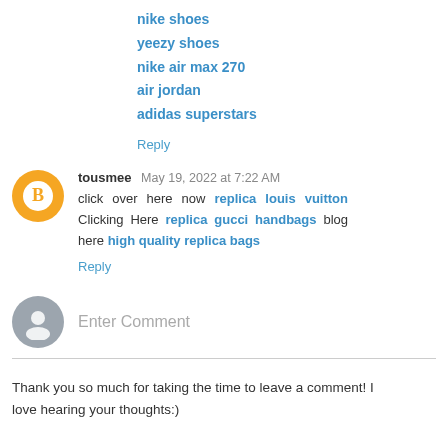nike shoes
yeezy shoes
nike air max 270
air jordan
adidas superstars
Reply
tousmee May 19, 2022 at 7:22 AM
click over here now replica louis vuitton Clicking Here replica gucci handbags blog here high quality replica bags
Reply
Enter Comment
Thank you so much for taking the time to leave a comment! I love hearing your thoughts:)